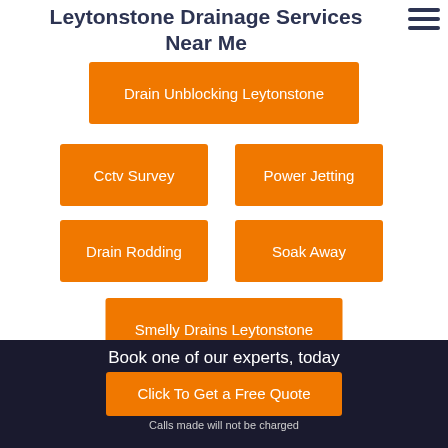Leytonstone Drainage Services Near Me
Drain Unblocking Leytonstone
Cctv Survey
Power Jetting
Drain Rodding
Soak Away
Smelly Drains Leytonstone
Book one of our experts, today
Click To Get a Free Quote
Calls made will not be charged